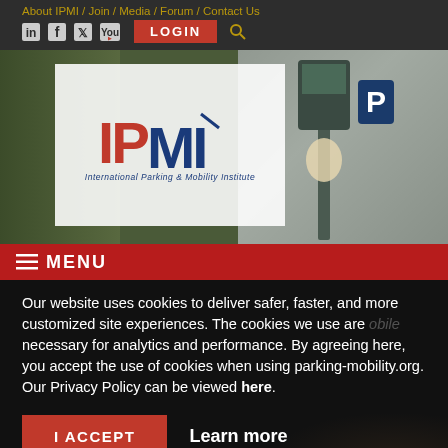About IPMI / Join / Media / Forum / Contact Us
[Figure (screenshot): IPMI website header with social icons, LOGIN button, and search icon]
[Figure (photo): Hero banner showing IPMI logo (International Parking & Mobility Institute) overlaid on a street parking scene with a parking meter]
≡ MENU
Our website uses cookies to deliver safer, faster, and more customized site experiences. The cookies we use are necessary for analytics and performance. By agreeing here, you accept the use of cookies when using parking-mobility.org. Our Privacy Policy can be viewed here.
[Figure (other): I ACCEPT button (red) and Learn more text link]